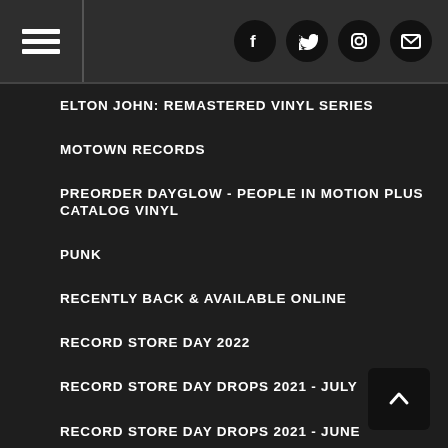Navigation header with hamburger menu and social icons (Facebook, Twitter, Instagram, Email)
ELTON JOHN: REMASTERED VINYL SERIES
MOTOWN RECORDS
PREORDER DAYGLOW - PEOPLE IN MOTION PLUS CATALOG VINYL
PUNK
RECENTLY BACK & AVAILABLE ONLINE
RECORD STORE DAY 2022
RECORD STORE DAY DROPS 2021 - JULY
RECORD STORE DAY DROPS 2021 - JUNE
RECORD STORE DAY DROPS 2022 - JUNE 18